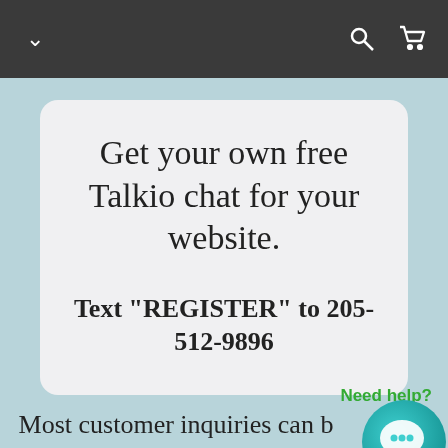Navigation bar with chevron, search, and cart icons
Get your own free Talkio chat for your website.
Text "REGISTER" to 205-512-9896
Need help?
Most customer inquiries can be resolved in just minutes.